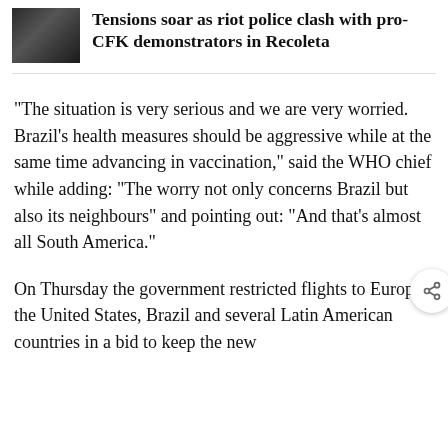[Figure (photo): Small thumbnail photo showing people in a crowd, dark tones, appears to be riot police or demonstrators]
Tensions soar as riot police clash with pro-CFK demonstrators in Recoleta
"The situation is very serious and we are very worried. Brazil's health measures should be aggressive while at the same time advancing in vaccination," said the WHO chief while adding: "The worry not only concerns Brazil but also its neighbours" and pointing out: "And that's almost all South America."
On Thursday the government restricted flights to Europe, the United States, Brazil and several Latin American countries in a bid to keep the new...